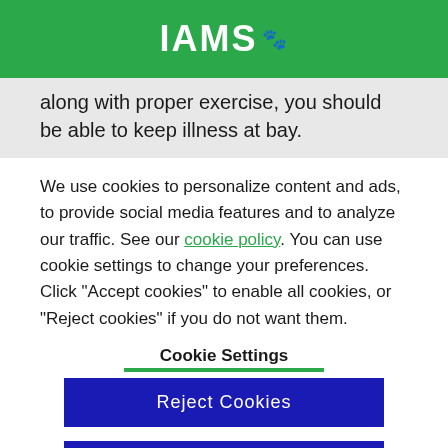[Figure (logo): IAMS logo with paw print icon on green background]
along with proper exercise, you should be able to keep illness at bay.
We use cookies to personalize content and ads, to provide social media features and to analyze our traffic. See our cookie policy. You can use cookie settings to change your preferences. Click "Accept cookies" to enable all cookies, or "Reject cookies" if you do not want them.
Cookie Settings
Reject Cookies
Accept Cookies